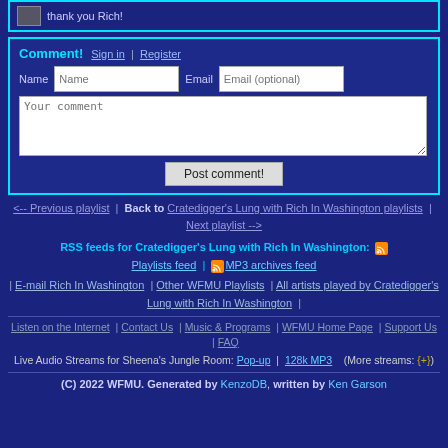thank you Rich!
Comment! Sign in | Register
Name | Email
Your comment
Post comment!
<-- Previous playlist | Back to Cratedigger's Lung with Rich In Washington playlists | Next playlist -->
RSS feeds for Cratedigger's Lung with Rich In Washington: Playlists feed | MP3 archives feed
| E-mail Rich In Washington | Other WFMU Playlists | All artists played by Cratedigger's Lung with Rich In Washington |
Listen on the Internet | Contact Us | Music & Programs | WFMU Home Page | Support Us | FAQ
Live Audio Streams for Sheena's Jungle Room: Pop-up | 128k MP3  (More streams: {+})
(C) 2022 WFMU. Generated by KenzoDB, written by Ken Garson